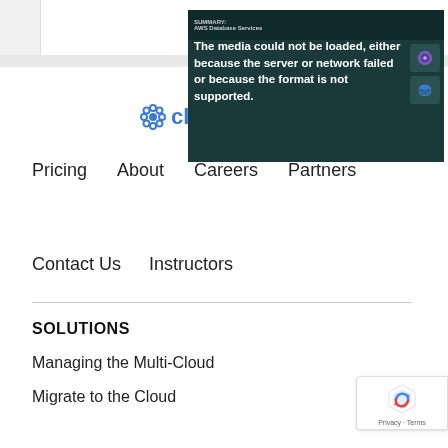[Figure (screenshot): Video player showing error message: 'The media could not be loaded, either because the server or network failed or because the format is not supported.' Overlaid on a dark teal background with AWS database service thumbnail images visible.]
[Figure (logo): Cloud Guru logo - blue flower/snowflake icon followed by 'clou' text visible (partially cropped)]
Pricing    About    Careers    Partners
Contact Us    Instructors
SOLUTIONS
Managing the Multi-Cloud
Migrate to the Cloud
[Figure (other): Google reCAPTCHA badge with 'Privacy · Terms' text]